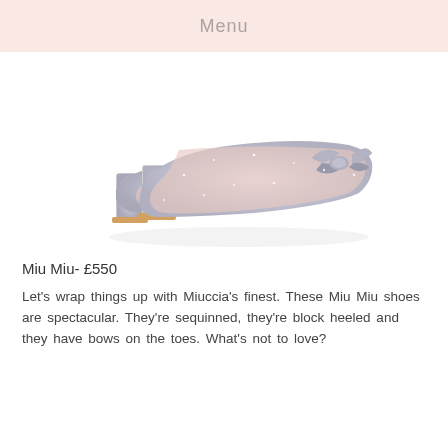Menu
[Figure (photo): Silver glitter Miu Miu block-heeled court shoes with bow detail on toes, photographed on white background]
Miu Miu- £550
Let's wrap things up with Miuccia's finest. These Miu Miu shoes are spectacular. They're sequinned, they're block heeled and they have bows on the toes. What's not to love?